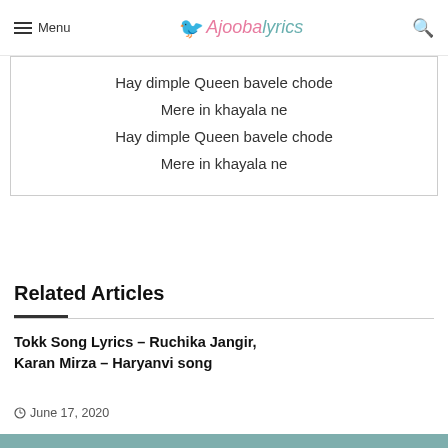Menu | AjoobaLyrics | Search
Hay dimple Queen bavele chode
Mere in khayala ne
Hay dimple Queen bavele chode
Mere in khayala ne
Related Articles
Tokk Song Lyrics – Ruchika Jangir, Karan Mirza – Haryanvi song
June 17, 2020